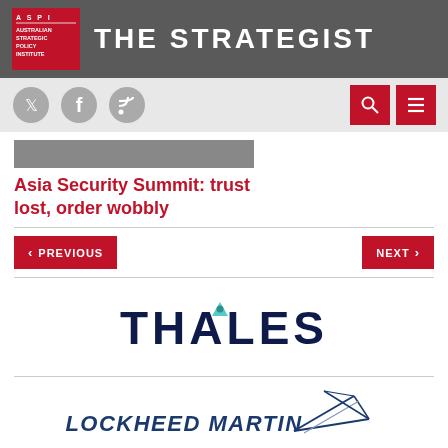THE STRATEGIST
[Figure (logo): ASPI Australian Strategic Policy Institute logo]
[Figure (infographic): Social media icons: Twitter, Facebook, RSS; Search and menu buttons]
Asia Security Summit: trust lost, order wobbly
< PREVIOUS    NEXT >
[Figure (logo): Thales company logo with dark blue text and teal triangle symbol]
[Figure (logo): Lockheed Martin company logo with blue text and silver/blue star graphic]